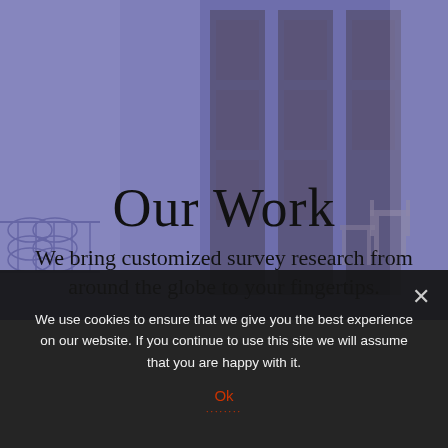[Figure (photo): Blue-purple tinted architectural background photo showing building interior with wooden doors, columns, ornate ironwork, and chairs]
Our Work
We bring customized survey research from around the globe to your fingertips.
We use cookies to ensure that we give you the best experience on our website. If you continue to use this site we will assume that you are happy with it.
Ok